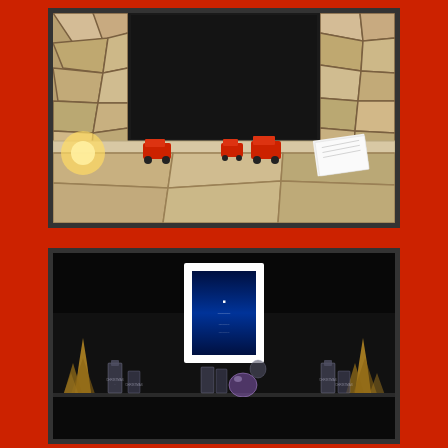[Figure (photo): Stone fireplace with dark firebox opening, stone hearth with small red toy vehicles and a notebook on the hearth ledge. A light source visible on the left side.]
[Figure (photo): Dark room interior showing a mantle or shelf with a white-framed picture/artwork in the center, golden ornamental plants on each side, and various small decorative items along the bottom including bottles and a crystal ball.]